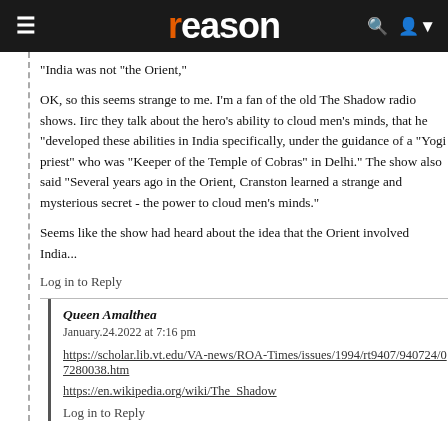reason
"India was not "the Orient,"
OK, so this seems strange to me. I'm a fan of the old The Shadow radio shows. Iirc they talk about the hero's ability to cloud men's minds, that he "developed these abilities in India specifically, under the guidance of a "Yogi priest" who was "Keeper of the Temple of Cobras" in Delhi." The show also said "Several years ago in the Orient, Cranston learned a strange and mysterious secret - the power to cloud men's minds."
Seems like the show had heard about the idea that the Orient involved India...
Log in to Reply
Queen Amalthea
January.24.2022 at 7:16 pm
https://scholar.lib.vt.edu/VA-news/ROA-Times/issues/1994/rt9407/940724/07280038.htm
https://en.wikipedia.org/wiki/The_Shadow
Log in to Reply